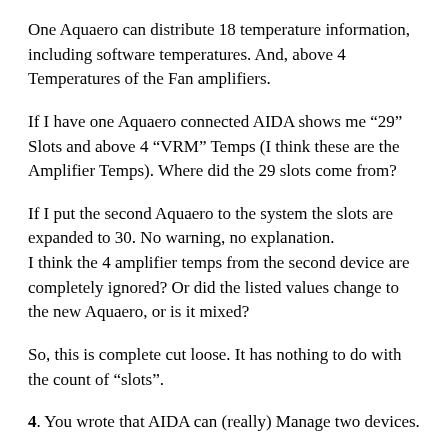One Aquaero can distribute 18 temperature information, including software temperatures. And, above 4 Temperatures of the Fan amplifiers.
If I have one Aquaero connected AIDA shows me “29” Slots and above 4 “VRM” Temps (I think these are the Amplifier Temps). Where did the 29 slots come from?
If I put the second Aquaero to the system the slots are expanded to 30. No warning, no explanation.
I think the 4 amplifier temps from the second device are completely ignored? Or did the listed values change to the new Aquaero, or is it mixed?
So, this is complete cut loose. It has nothing to do with the count of “slots”.
4. You wrote that AIDA can (really) Manage two devices.